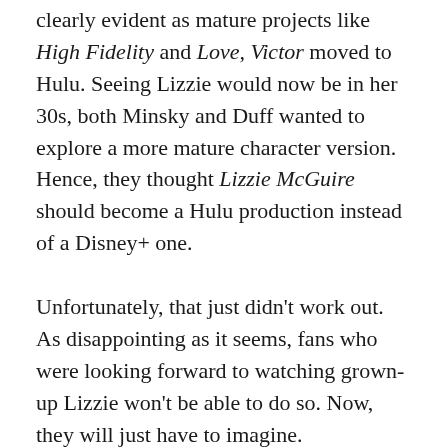clearly evident as mature projects like High Fidelity and Love, Victor moved to Hulu. Seeing Lizzie would now be in her 30s, both Minsky and Duff wanted to explore a more mature character version. Hence, they thought Lizzie McGuire should become a Hulu production instead of a Disney+ one.
Unfortunately, that just didn't work out. As disappointing as it seems, fans who were looking forward to watching grown-up Lizzie won't be able to do so. Now, they will just have to imagine.
While there could be other factors that led to Lizzie McGuire's total abolition, blame seems to point out those